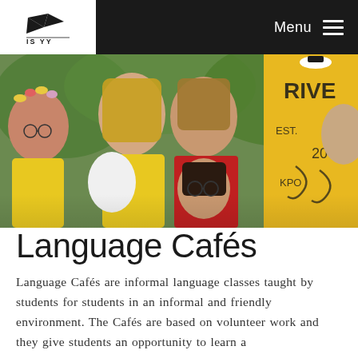ISYY | Menu
[Figure (photo): Group of young students outdoors, some wearing yellow t-shirts and one in a red jacket. A yellow banner with text 'EST. KPO' and partial letters 'RIVE' is visible in the background. One student wears a flower crown.]
Language Cafés
Language Cafés are informal language classes taught by students for students in an informal and friendly environment. The Cafés are based on volunteer work and they give students an opportunity to learn a